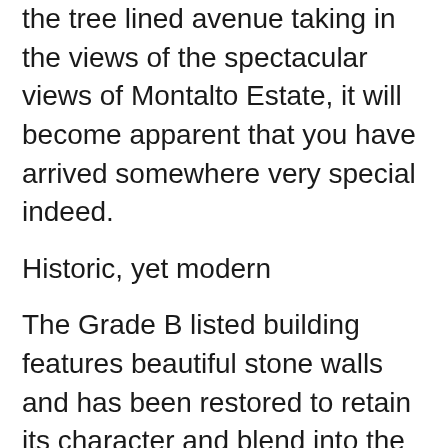the tree lined avenue taking in the views of the spectacular views of Montalto Estate, it will become apparent that you have arrived somewhere very special indeed.
Historic, yet modern
The Grade B listed building features beautiful stone walls and has been restored to retain its character and blend into the historic, rural setting while providing a romantic and exclusive luxury venue for your civil partnership in Northern Ireland.